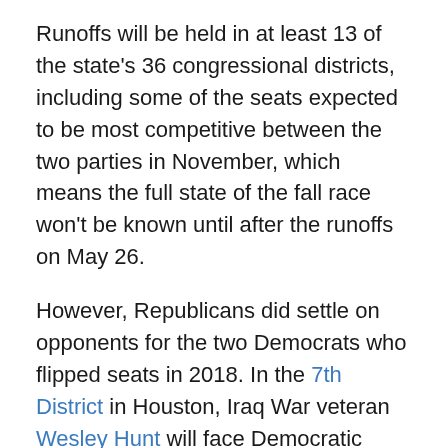Runoffs will be held in at least 13 of the state's 36 congressional districts, including some of the seats expected to be most competitive between the two parties in November, which means the full state of the fall race won't be known until after the runoffs on May 26.
However, Republicans did settle on opponents for the two Democrats who flipped seats in 2018. In the 7th District in Houston, Iraq War veteran Wesley Hunt will face Democratic incumbent Lizzie Fletcher, while in the 32d District, in Dallas, business executive Genevieve Collins was selected to challenge Democrat Collin Allred.
One candidate who also won without a runoff was former Democratic State Senator Wendy Davis, who garnered national attention in a bid for governor in 2014. She moved from Fort Worth to Austin to run the 21st District and easily